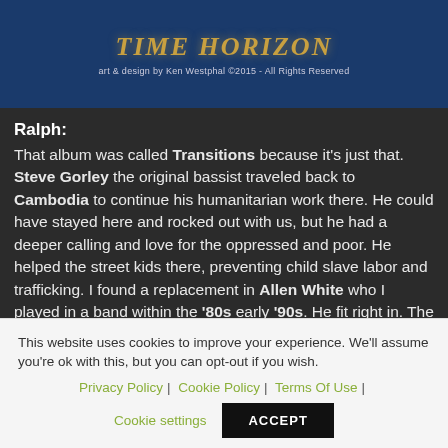[Figure (illustration): Album cover or banner image with dark blue background showing 'TIME HORIZON' text in gold/amber stylized font, with credit text 'art & design by Ken Westphal ©2015 - All Rights Reserved']
Ralph:
That album was called Transitions because it's just that. Steve Gorley the original bassist traveled back to Cambodia to continue his humanitarian work there. He could have stayed here and rocked out with us, but he had a deeper calling and love for the oppressed and poor. He helped the street kids there, preventing child slave labor and trafficking. I found a replacement in Allen White who I played in a band within the '80s early '90s. He fit right in. The original
This website uses cookies to improve your experience. We'll assume you're ok with this, but you can opt-out if you wish.
Privacy Policy | Cookie Policy | Terms Of Use | Cookie settings
ACCEPT